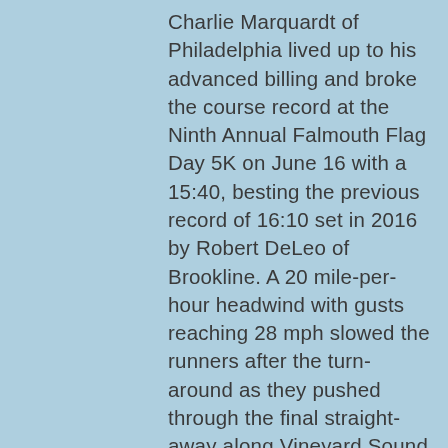Charlie Marquardt of Philadelphia lived up to his advanced billing and broke the course record at the Ninth Annual Falmouth Flag Day 5K on June 16 with a 15:40, besting the previous record of 16:10 set in 2016 by Robert DeLeo of Brookline. A 20 mile-per-hour headwind with gusts reaching 28 mph slowed the runners after the turn-around as they pushed through the final straight-away along Vineyard Sound. Marquardt was shadowed by 2015 Harvard grad Billy Looney for the first mile (4:58) but faded at the halfway mark and Marquardt ran alone along the water for the rest of the race. "Around halfway I could feel that